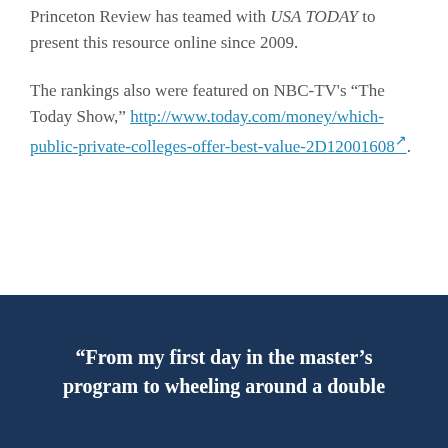Princeton Review has teamed with USA TODAY to present this resource online since 2009.

The rankings also were featured on NBC-TV's “The Today Show,” http://www.today.com/money/which-public-private-colleges-offer-best-value-2D12001608.
“From my first day in the master’s program to wheeling around a double